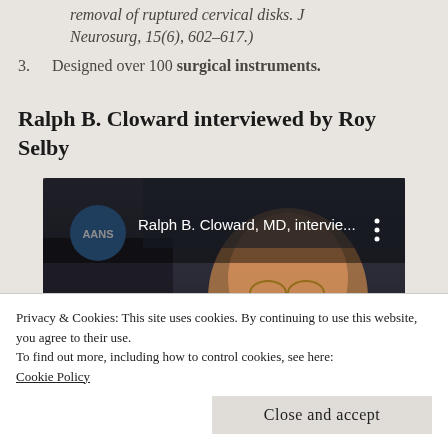removal of ruptured cervical disks. J Neurosurg, 15(6), 602–617.)
3. Designed over 100 surgical instruments.
Ralph B. Cloward interviewed by Roy Selby
[Figure (screenshot): YouTube video thumbnail showing AANS channel video titled 'Ralph B. Cloward, MD, intervie...' with an elderly man with glasses visible in the thumbnail and a red play button overlay.]
Privacy & Cookies: This site uses cookies. By continuing to use this website, you agree to their use.
To find out more, including how to control cookies, see here:
Cookie Policy
Close and accept